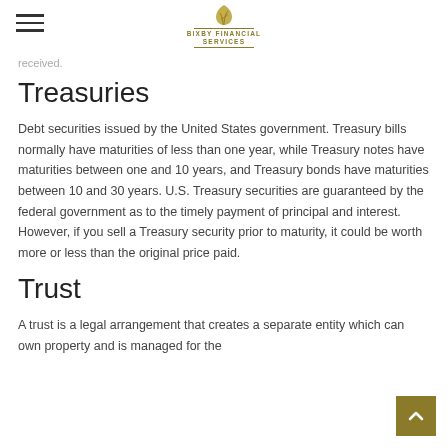Bixby Financial Services
received.
Treasuries
Debt securities issued by the United States government. Treasury bills normally have maturities of less than one year, while Treasury notes have maturities between one and 10 years, and Treasury bonds have maturities between 10 and 30 years. U.S. Treasury securities are guaranteed by the federal government as to the timely payment of principal and interest. However, if you sell a Treasury security prior to maturity, it could be worth more or less than the original price paid.
Trust
A trust is a legal arrangement that creates a separate entity which can own property and is managed for the